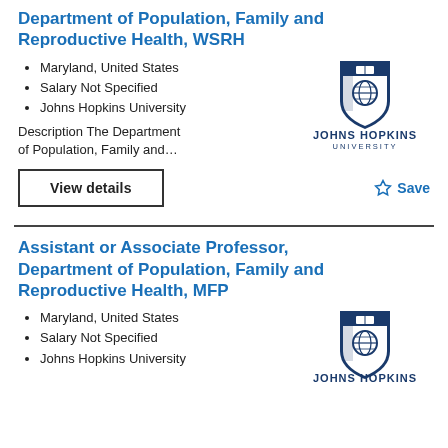Department of Population, Family and Reproductive Health, WSRH
Maryland, United States
Salary Not Specified
Johns Hopkins University
Description The Department of Population, Family and…
[Figure (logo): Johns Hopkins University shield logo with text JOHNS HOPKINS UNIVERSITY]
View details
☆ Save
Assistant or Associate Professor, Department of Population, Family and Reproductive Health, MFP
Maryland, United States
Salary Not Specified
Johns Hopkins University
[Figure (logo): Johns Hopkins University shield logo with text JOHNS HOPKINS]